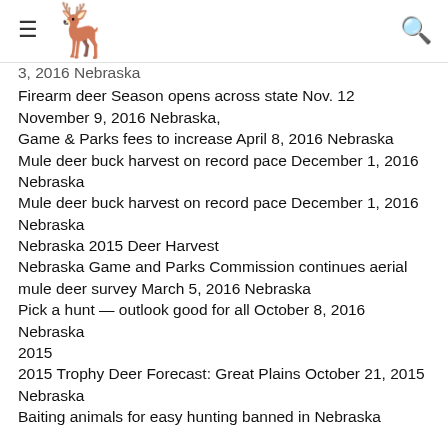[hamburger menu] [deer logo] [search icon]
3, 2016 Nebraska
Firearm deer Season opens across state Nov. 12 November 9, 2016 Nebraska,
Game & Parks fees to increase April 8, 2016 Nebraska
Mule deer buck harvest on record pace December 1, 2016 Nebraska
Mule deer buck harvest on record pace December 1, 2016 Nebraska
Nebraska 2015 Deer Harvest
Nebraska Game and Parks Commission continues aerial mule deer survey March 5, 2016 Nebraska
Pick a hunt — outlook good for all October 8, 2016 Nebraska
2015
2015 Trophy Deer Forecast: Great Plains October 21, 2015 Nebraska
Baiting animals for easy hunting banned in Nebraska